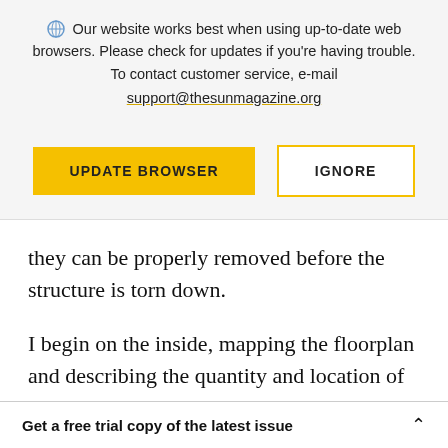Our website works best when using up-to-date web browsers. Please check for updates if you're having trouble. To contact customer service, e-mail support@thesunmagazine.org
[Figure (other): Two buttons: 'UPDATE BROWSER' (gold/yellow filled) and 'IGNORE' (white with gold/yellow border)]
they can be properly removed before the structure is torn down.
I begin on the inside, mapping the floorplan and describing the quantity and location of the
Get a free trial copy of the latest issue